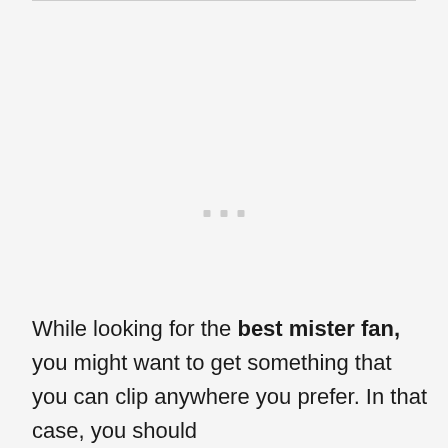[Figure (other): Advertisement placeholder area with three small grey squares centered on the page]
While looking for the best mister fan, you might want to get something that you can clip anywhere you prefer. In that case, you should